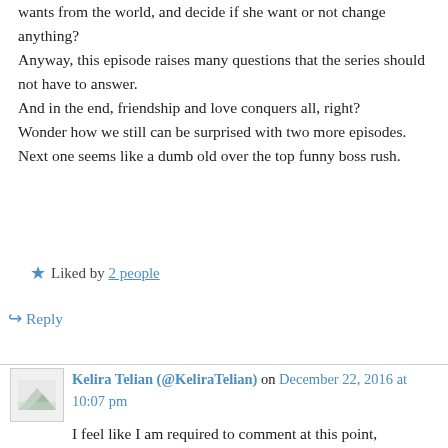wants from the world, and decide if she want or not change anything? Anyway, this episode raises many questions that the series should not have to answer. And in the end, friendship and love conquers all, right? Wonder how we still can be surprised with two more episodes. Next one seems like a dumb old over the top funny boss rush.
★ Liked by 2 people
↵ Reply
Kelira Telian (@KeliraTelian) on December 22, 2016 at 10:07 pm
I feel like I am required to comment at this point,